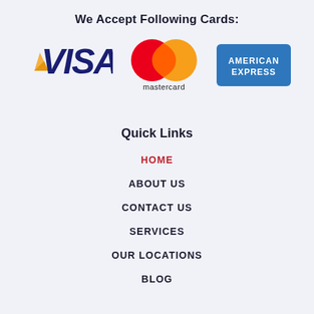We Accept Following Cards:
[Figure (logo): Visa logo — large blue italic VISA text with gold/yellow wing accent on left]
[Figure (logo): Mastercard logo — two overlapping circles (red and orange) above the word 'mastercard' in lowercase]
[Figure (logo): American Express logo — blue rectangle with 'AMERICAN EXPRESS' text in white]
Quick Links
HOME
ABOUT US
CONTACT US
SERVICES
OUR LOCATIONS
BLOG